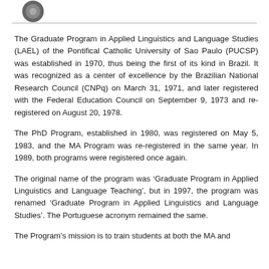[Figure (logo): Partial circular logo/emblem at top left]
The Graduate Program in Applied Linguistics and Language Studies (LAEL) of the Pontifical Catholic University of Sao Paulo (PUCSP) was established in 1970, thus being the first of its kind in Brazil. It was recognized as a center of excellence by the Brazilian National Research Council (CNPq) on March 31, 1971, and later registered with the Federal Education Council on September 9, 1973 and re-registered on August 20, 1978.
The PhD Program, established in 1980, was registered on May 5, 1983, and the MA Program was re-registered in the same year. In 1989, both programs were registered once again.
The original name of the program was ‘Graduate Program in Applied Linguistics and Language Teaching’, but in 1997, the program was renamed ‘Graduate Program in Applied Linguistics and Language Studies’. The Portuguese acronym remained the same.
The Program’s mission is to train students at both the MA and